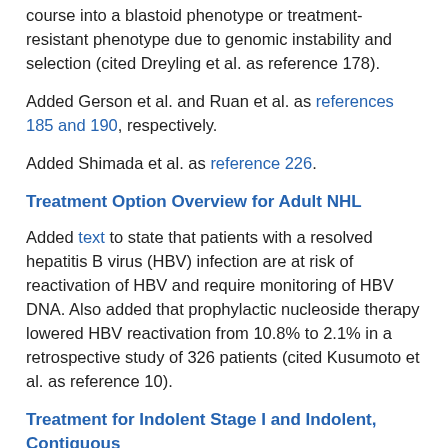course into a blastoid phenotype or treatment-resistant phenotype due to genomic instability and selection (cited Dreyling et al. as reference 178).
Added Gerson et al. and Ruan et al. as references 185 and 190, respectively.
Added Shimada et al. as reference 226.
Treatment Option Overview for Adult NHL
Added text to state that patients with a resolved hepatitis B virus (HBV) infection are at risk of reactivation of HBV and require monitoring of HBV DNA. Also added that prophylactic nucleoside therapy lowered HBV reactivation from 10.8% to 2.1% in a retrospective study of 326 patients (cited Kusumoto et al. as reference 10).
Treatment for Indolent Stage I and Indolent, Contiguous